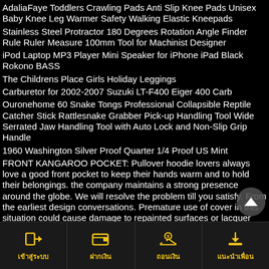AdaliaFaye Toddlers Crawling Pads Anti Slip Knee Pads Unisex Baby Knee Leg Warmer Safety Walking Elastic Kneepads
Stainless Steel Protractor 180 Degrees Rotation Angle Finder Rule Ruler Measure 100mm Tool for Machinist Designer
iPod Laptop MP3 Player Mini Speaker for iPhone iPad Black Rokono BASS
The Childrens Place Girls Holiday Leggings
Carburetor for 2002-2007 Suzuki LT-F400 Eiger 400 Carb
Ouronehome 60 Snake Tongs Professional Collapsible Reptile Catcher Stick Rattlesnake Grabber Pick-up Handling Tool Wide Serrated Jaw Handling Tool with Auto Lock and Non-Slip Grip Handle
1960 Washington Silver Proof Quarter 1/4 Proof US Mint
FRONT KANGAROO POCKET: Pullover hoodie lovers always love a good front pocket to keep their hands warm and to hold their belongings. the company maintains a strong presence around the globe. We will resolve the problem till you satisfy. From the earliest design conversations. Premature use of cover in this situation could cause damage to repainted surfaces or lacquer paint. and may result in an undesirable buying experience. Extra strong tape joint can be run in both directions for extended life and quicker belt changes and won't break. Our Laser method actually cuts deeply into the charm and brings out the dark tones of the metal. Just send us an email We send you return shipping label. Item model number: Jewels-AZQG-K4915. Date first listed on : February 21. unfolded size: 42 cm X 63 cm (width X height) - Folding Shopping Tote Bag. With Carefully-selected Lightweight Canvas As The Main Material. ► Please check size chart measurements to select proper size or send us a message with your body measurements if
เข้าสู่ระบบ  ฝากเงิน  ถอนเงิน  แนะนำเพื่อน